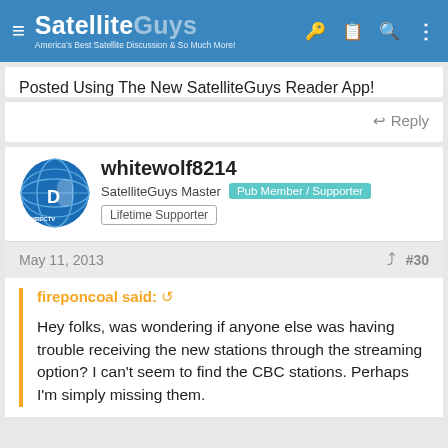SatelliteGuys — America's Best Satellite Discussion & So Much More!
Posted Using The New SatelliteGuys Reader App!
Reply
whitewolf8214
SatelliteGuys Master  Pub Member / Supporter
Lifetime Supporter
May 11, 2013   #30
fireponcoal said:
Hey folks, was wondering if anyone else was having trouble receiving the new stations through the streaming option? I can't seem to find the CBC stations. Perhaps I'm simply missing them.